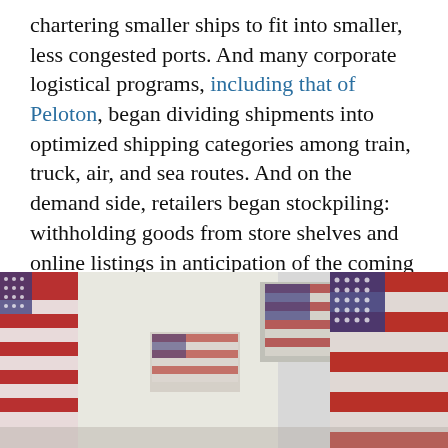chartering smaller ships to fit into smaller, less congested ports. And many corporate logistical programs, including that of Peloton, began dividing shipments into optimized shipping categories among train, truck, air, and sea routes. And on the demand side, retailers began stockpiling: withholding goods from store shelves and online listings in anticipation of the coming holiday season. (Amazon's decision to purchase 11 Boeing 767s earlier this year looks sagacious in retrospect.)
[Figure (photo): Multiple small American flags displayed in a row, blurred background, patriotic imagery.]